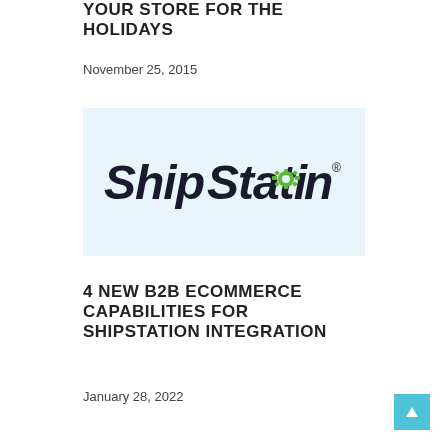YOUR STORE FOR THE HOLIDAYS
November 25, 2015
[Figure (logo): ShipStation logo on light blue background — dark text 'ShipStation' with a green gear replacing the letter 'o', followed by a registered trademark symbol]
4 NEW B2B ECOMMERCE CAPABILITIES FOR SHIPSTATION INTEGRATION
January 28, 2022